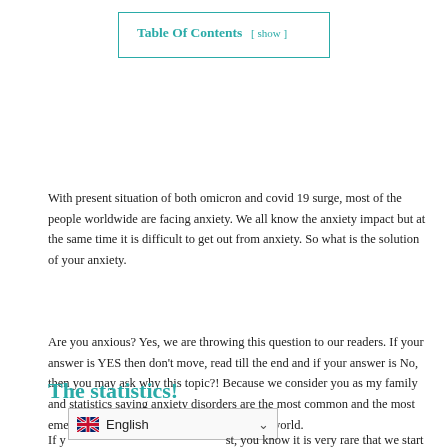Table Of Contents [ show ]
With present situation of both omicron and covid 19 surge, most of the people worldwide are facing anxiety. We all know the anxiety impact but at the same time it is difficult to get out from anxiety. So what is the solution of your anxiety.
Are you anxious? Yes, we are throwing this question to our readers. If your answer is YES then don't move, read till the end and if your answer is No, then you may ask why this topic?! Because we consider you as my family and statistics saying anxiety disorders are the most common and the most emerging issue of mental illness all over the world.
The statistics!
[Figure (screenshot): Language selector widget showing English with UK flag and dropdown arrow]
If y...st, you know it is very rare that we start